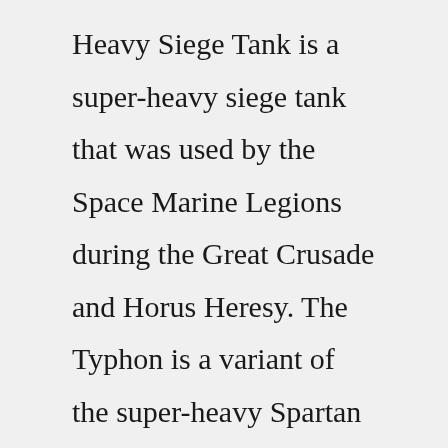Heavy Siege Tank is a super-heavy siege tank that was used by the Space Marine Legions during the Great Crusade and Horus Heresy. The Typhon is a variant of the super-heavy Spartan Assault Tank also used by the Legions, and both were developed simultaneously using the same hull, armour, and chassis design. While the Spartan Assault Tank was developed by the Mechanicum in response to ...Mothiva is one of the most popular stars in Bugaria.